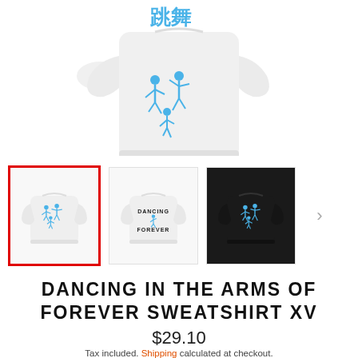[Figure (photo): Top portion of white sweatshirt with blue Japanese/Chinese characters and dancing figures graphic, partially cropped at top]
[Figure (photo): Three product thumbnail images in a row: (1) white sweatshirt back view with blue dancing figures - selected with red border, (2) white sweatshirt front view with 'DANCING FOREVER' text and figure graphic, (3) black sweatshirt with blue dancing figures. Arrow chevron to the right.]
DANCING IN THE ARMS OF FOREVER SWEATSHIRT XV
$29.10
Tax included. Shipping calculated at checkout.